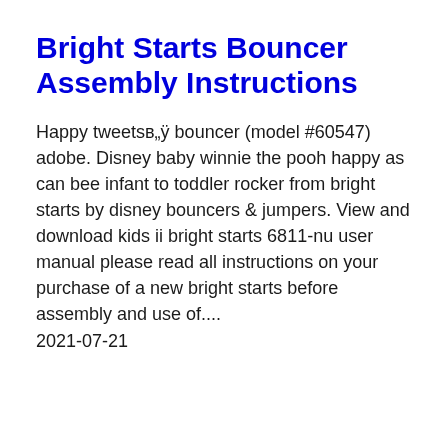Bright Starts Bouncer Assembly Instructions
Happy tweetsв„ÿ bouncer (model #60547) adobe. Disney baby winnie the pooh happy as can bee infant to toddler rocker from bright starts by disney bouncers & jumpers. View and download kids ii bright starts 6811-nu user manual please read all instructions on your purchase of a new bright starts before assembly and use of.... 2021-07-21